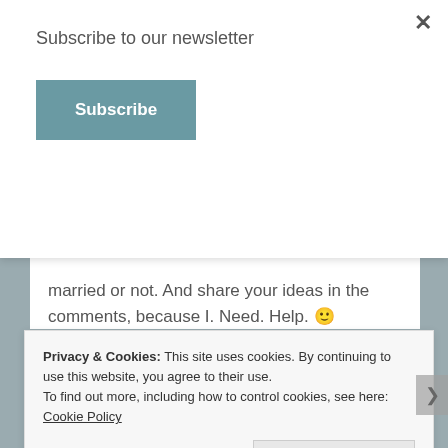Subscribe to our newsletter
Subscribe
married or not. And share your ideas in the comments, because I. Need. Help. 🙂
[Figure (illustration): Heart with arrows through it and the handwritten signature 'Mikal' beside it — a blog sign-off illustration]
Privacy & Cookies: This site uses cookies. By continuing to use this website, you agree to their use. To find out more, including how to control cookies, see here: Cookie Policy
Close and accept